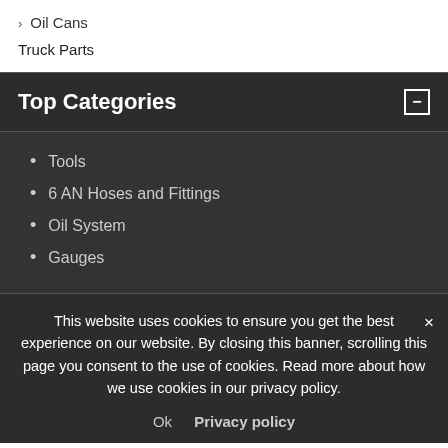> Oil Cans
Truck Parts
Top Categories
Tools
6 AN Hoses and Fittings
Oil System
Gauges
This website uses cookies to ensure you get the best experience on our website. By closing this banner, scrolling this page you consent to the use of cookies. Read more about how we use cookies in our privacy policy.
Ok   Privacy policy